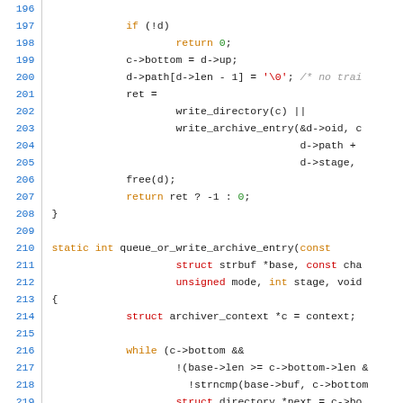[Figure (screenshot): Source code listing in a syntax-highlighted code editor, showing C code lines 196–225, including functions write_directory, write_archive_entry, queue_or_write_archive_entry, and related logic.]